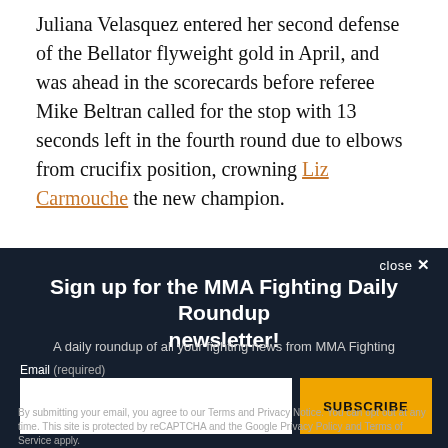Juliana Velasquez entered her second defense of the Bellator flyweight gold in April, and was ahead in the scorecards before referee Mike Beltran called for the stop with 13 seconds left in the fourth round due to elbows from crucifix position, crowning Liz Carmouche the new champion.
[Figure (infographic): AD placeholder box with light gray background]
close ✕
Sign up for the MMA Fighting Daily Roundup newsletter!
A daily roundup of all your fighting news from MMA Fighting
Email (required)
SUBSCRIBE
By submitting your email, you agree to our Terms and Privacy Notice. You can opt out at any time. This site is protected by reCAPTCHA and the Google Privacy Policy and Terms of Service apply.